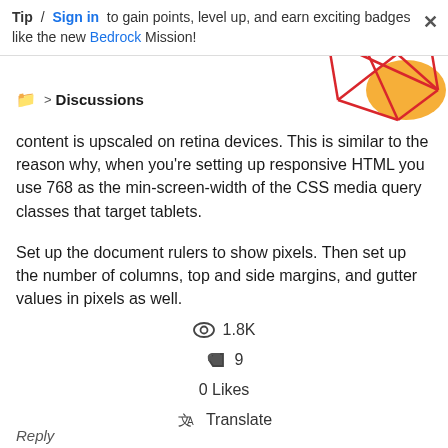Tip / Sign in to gain points, level up, and earn exciting badges like the new Bedrock Mission!
[Figure (illustration): Decorative geometric illustration with red lines forming star/polygon shape and orange blob shape, top-right corner]
📁 > Discussions
content is upscaled on retina devices. This is similar to the reason why, when you're setting up responsive HTML you use 768 as the min-screen-width of the CSS media query classes that target tablets.
Set up the document rulers to show pixels. Then set up the number of columns, top and side margins, and gutter values in pixels as well.
1.8K
9
0 Likes
Translate
Reply